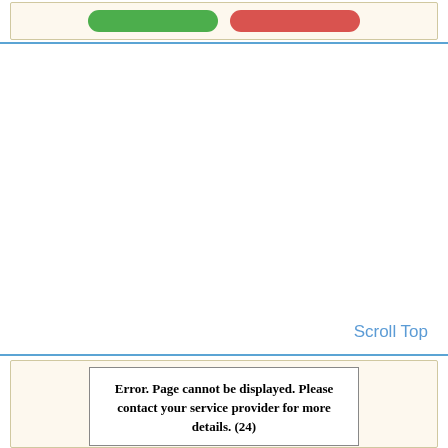[Figure (screenshot): Top UI bar with a cream/beige inner panel containing two rounded buttons: a green button on the left and a red button on the right]
Scroll Top
[Figure (screenshot): Bottom section with a cream/beige panel containing an error message box with bold text: Error. Page cannot be displayed. Please contact your service provider for more details. (24)]